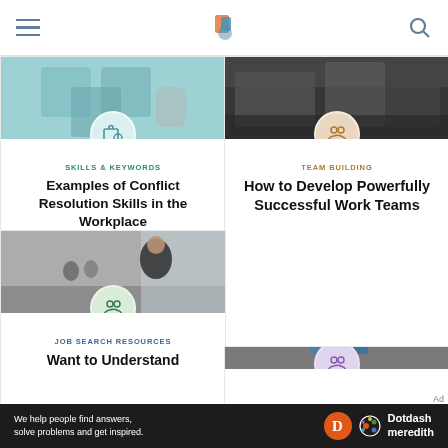[Navigation header with hamburger menu, logo, and search icon]
[Figure (screenshot): Article card: Skills & Keywords – Examples of Conflict Resolution Skills in the Workplace, with briefcase search icon on teal puzzle image]
[Figure (screenshot): Article card: Team Building – How to Develop Powerfully Successful Work Teams, with people icon on meeting photo]
[Figure (screenshot): Article card: Job Search Resources – Want to Understand, with people icon on businesswoman photo]
[Figure (screenshot): Article card: Employment Law, with people icon on puzzle collaboration photo]
We help people find answers, solve problems and get inspired. Dotdash meredith